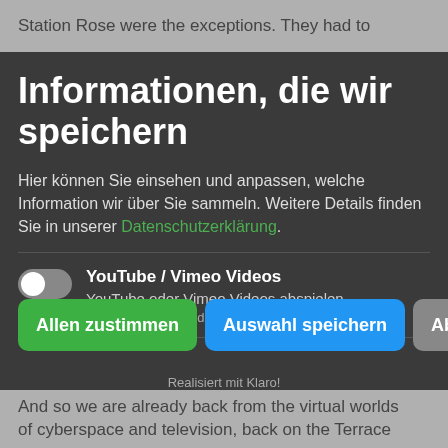Station Rose were the exceptions. They had to
Informationen, die wir speichern
Hier können Sie einsehen und anpassen, welche Information wir über Sie sammeln. Weitere Details finden Sie in unserer Datenschutzerklärung.
YouTube / Vimeo Videos
YouTube oder Vimeo Videos abspielen
Zweck: Externe Medien
Allen zustimmen | Auswahl speichern | Ablehnen
Realisiert mit Klaro!
And so we are already back from the virtual worlds of cyberspace and television, back on the Terrace